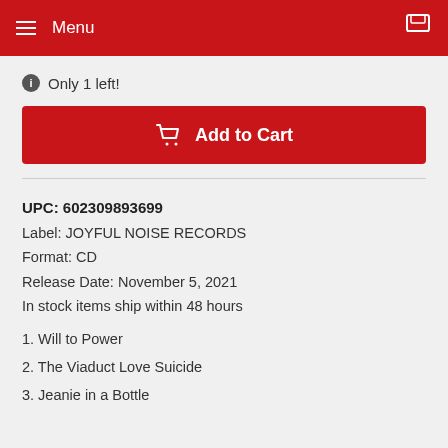Menu
Only 1 left!
Add to Cart
UPC: 602309893699
Label: JOYFUL NOISE RECORDS
Format: CD
Release Date: November 5, 2021
In stock items ship within 48 hours
1. Will to Power
2. The Viaduct Love Suicide
3. Jeanie in a Bottle